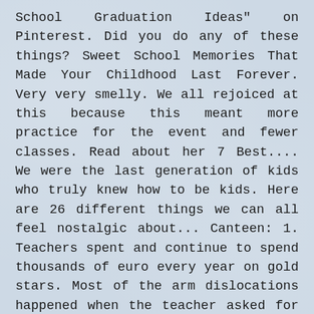School Graduation Ideas" on Pinterest. Did you do any of these things? Sweet School Memories That Made Your Childhood Last Forever. Very very smelly. We all rejoiced at this because this meant more practice for the event and fewer classes. Read about her 7 Best.... We were the last generation of kids who truly knew how to be kids. Here are 26 different things we can all feel nostalgic about... Canteen: 1. Teachers spent and continue to spend thousands of euro every year on gold stars. Most of the arm dislocations happened when the teacher asked for a 'helper', which could be to do anything from cleaning the blackboard to bringing something to another classroom, or the office, as outlined above. Moving the desks against the walls, rearranging the chairs, someone usually started messing during all of this activity and ended up not being allowed to take part. 4 Reasons Why People